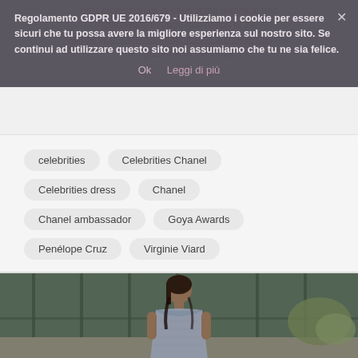best professionals in each of the technical and specialities through four hands of the Academy of Cinematographic Arts and Sciences has recognized with the Goya
Regolamento GDPR UE 2016/679 - Utilizziamo i cookie per essere sicuri che tu possa avere la migliore esperienza sul nostro sito. Se continui ad utilizzare questo sito noi assumiamo che tu ne sia felice. Ok  Leggi di più
celebrities
Celebrities Chanel
Celebrities dress
Chanel
Chanel ambassador
Goya Awards
Penélope Cruz
Virginie Viard
[Figure (photo): Fashion model in off-shoulder grey/blue dress photographed outdoors with green building facade in background, plants visible]